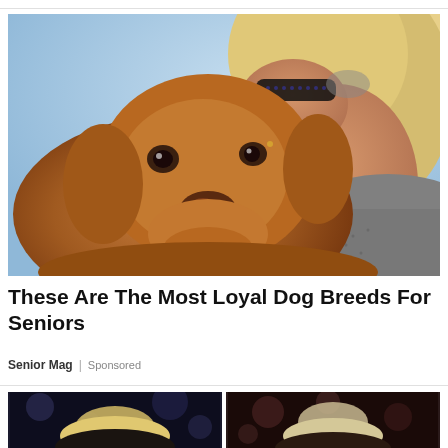[Figure (photo): An elderly woman with blonde hair and dark sunglasses nuzzling a golden-brown dog puppy (Vizsla). The woman wears a grey knit sweater and holds the dog close to her face. Light blue background.]
These Are The Most Loyal Dog Breeds For Seniors
Senior Mag | Sponsored
[Figure (photo): Two side-by-side photos of people at what appears to be a talk show or interview setting with bokeh background lights. Left photo shows a person with blonde hair. Right photo shows a person with lighter hair viewed from behind/side.]